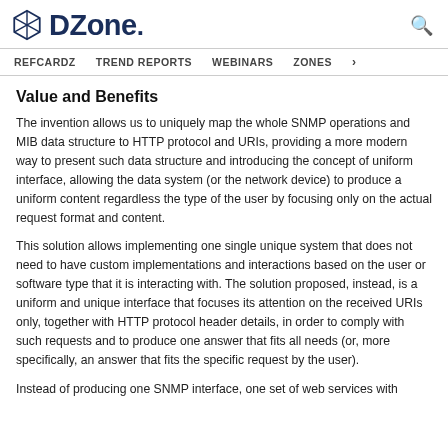DZone. REFCARDZ TREND REPORTS WEBINARS ZONES
Value and Benefits
The invention allows us to uniquely map the whole SNMP operations and MIB data structure to HTTP protocol and URIs, providing a more modern way to present such data structure and introducing the concept of uniform interface, allowing the data system (or the network device) to produce a uniform content regardless the type of the user by focusing only on the actual request format and content.
This solution allows implementing one single unique system that does not need to have custom implementations and interactions based on the user or software type that it is interacting with. The solution proposed, instead, is a uniform and unique interface that focuses its attention on the received URIs only, together with HTTP protocol header details, in order to comply with such requests and to produce one answer that fits all needs (or, more specifically, an answer that fits the specific request by the user).
Instead of producing one SNMP interface, one set of web services with related HTTP methods, and a set of data for the user, this URI-based